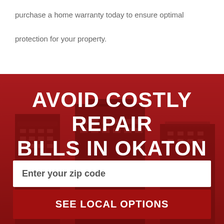purchase a home warranty today to ensure optimal protection for your property.
[Figure (photo): City skyline with tall buildings against a red-tinted sky, used as background for a home warranty advertisement banner]
AVOID COSTLY REPAIR BILLS IN OKATON
Enter your zip code
SEE LOCAL OPTIONS